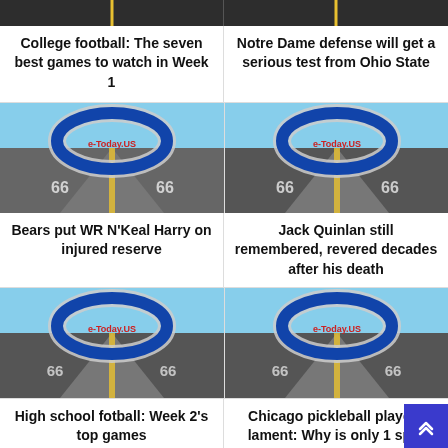[Figure (photo): Partial top strip of two road photos cut off at top of page]
College football: The seven best games to watch in Week 1
Notre Dame defense will get a serious test from Ohio State
[Figure (photo): Route 66 road with e-Today.US arch balloon sign]
[Figure (photo): Route 66 road with e-Today.US arch balloon sign]
Bears put WR N'Keal Harry on injured reserve
Jack Quinlan still remembered, revered decades after his death
[Figure (photo): Route 66 road with e-Today.US arch balloon sign]
[Figure (photo): Route 66 road with e-Today.US arch balloon sign]
High school fotball: Week 2's top games
Chicago pickleball players lament: Why is only 1 spot